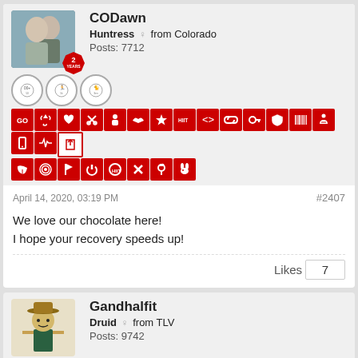CODawn
Huntress ♀ from Colorado
Posts: 7712
[Figure (infographic): User badges and achievement icons row for CODawn]
April 14, 2020, 03:19 PM
#2407
We love our chocolate here!
I hope your recovery speeds up!
Likes  7
Gandhalfit
Druid ♀ from TLV
Posts: 9742
[Figure (infographic): User badges and achievement icons row for Gandhalfit]